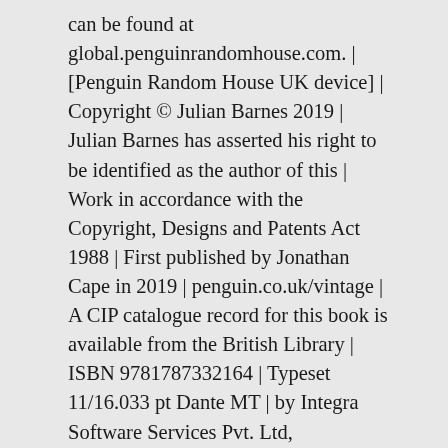can be found at global.penguinrandomhouse.com. | [Penguin Random House UK device] | Copyright © Julian Barnes 2019 | Julian Barnes has asserted his right to be identified as the author of this | Work in accordance with the Copyright, Designs and Patents Act 1988 | First published by Jonathan Cape in 2019 | penguin.co.uk/vintage | A CIP catalogue record for this book is available from the British Library | ISBN 9781787332164 | Typeset 11/16.033 pt Dante MT | by Integra Software Services Pvt. Ltd, Pondicherry | Colour reproduction by Altaimage Ltd | Printed and bound in China by C&C Offset Printing Co., Ltd